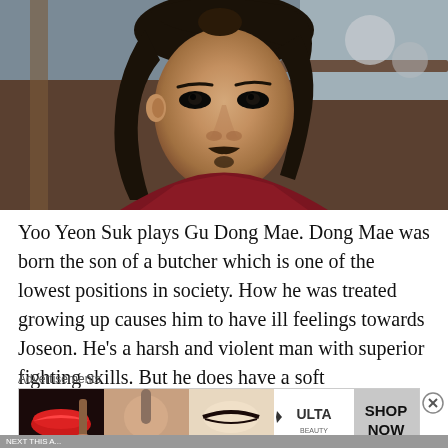[Figure (photo): Portrait photo of actor Yoo Yeon Suk as Gu Dong Mae, a man with long dark hair in a half-up style, thin mustache and goatee, wearing a dark red/burgundy traditional Korean costume, looking intensely at the camera. Background shows traditional wooden Korean architecture.]
Yoo Yeon Suk plays Gu Dong Mae. Dong Mae was born the son of a butcher which is one of the lowest positions in society. How he was treated growing up causes him to have ill feelings towards Joseon. He's a harsh and violent man with superior fighting skills. But he does have a soft
Advertisements
[Figure (photo): Ulta Beauty advertisement banner showing close-up images of women's makeup looks including bold red lips, blush brush, eye makeup, the Ulta logo in the center, more eye makeup, and a 'SHOP NOW' call to action on the right.]